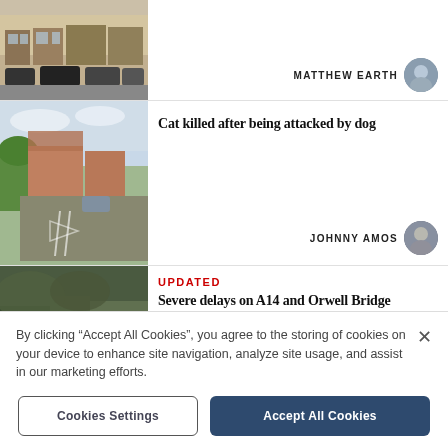[Figure (photo): Street view of a row of shops with parked cars in front, English village high street]
MATTHEW EARTH
[Figure (photo): Residential street with houses, trees and a car, suburban England]
Cat killed after being attacked by dog
JOHNNY AMOS
[Figure (photo): Partial view of road or outdoor scene, partially cut off]
UPDATED
Severe delays on A14 and Orwell Bridge
By clicking “Accept All Cookies”, you agree to the storing of cookies on your device to enhance site navigation, analyze site usage, and assist in our marketing efforts.
Cookies Settings
Accept All Cookies